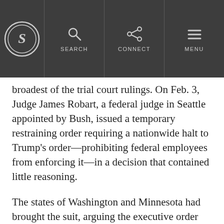Snopes navigation bar with logo, SEARCH, CONNECT, MENU
broadest of the trial court rulings. On Feb. 3, Judge James Robart, a federal judge in Seattle appointed by Bush, issued a temporary restraining order requiring a nationwide halt to Trump's order—prohibiting federal employees from enforcing it—in a decision that contained little reasoning.
The states of Washington and Minnesota had brought the suit, arguing the executive order harms the state's residents in areas of employment, education, business, and family relations.
Hundreds of travelers who are citizens of the seven targeted countries have come to the U.S. since Robart issued his order, and those that have been screened